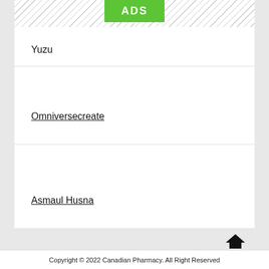[Figure (other): ADS banner button with green background and hatched grey areas on left and right sides]
Yuzu
Omniversecreate
Asmaul Husna
[Figure (other): Back to top arrow icon]
Copyright © 2022 Canadian Pharmacy. All Right Reserved